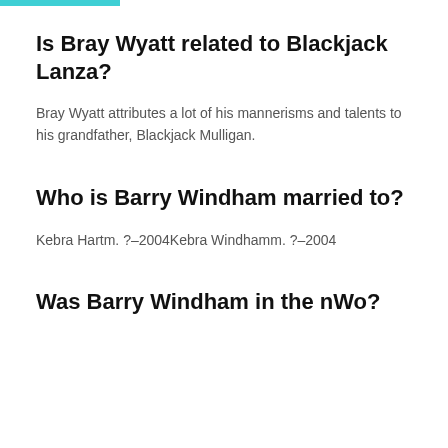Is Bray Wyatt related to Blackjack Lanza?
Bray Wyatt attributes a lot of his mannerisms and talents to his grandfather, Blackjack Mulligan.
Who is Barry Windham married to?
Kebra Hartm. ?–2004Kebra Windhamm. ?–2004
Was Barry Windham in the nWo?